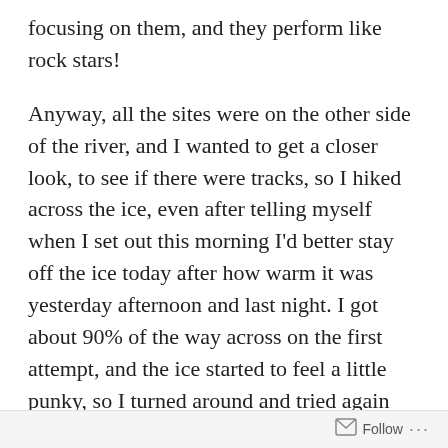focusing on them, and they perform like rock stars!
Anyway, all the sites were on the other side of the river, and I wanted to get a closer look, to see if there were tracks, so I hiked across the ice, even after telling myself when I set out this morning I’d better stay off the ice today after how warm it was yesterday afternoon and last night. I got about 90% of the way across on the first attempt, and the ice started to feel a little punky, so I turned around and tried again further upstream where someone has helpfully strung a rope from side to side.
On the other side, I believe I can now confirmed who left that mystery track in the snow we saw yesterday. The lack of foot prints either beside or behind was what perplexed me. Now I’m confident that beaver cover their
Follow